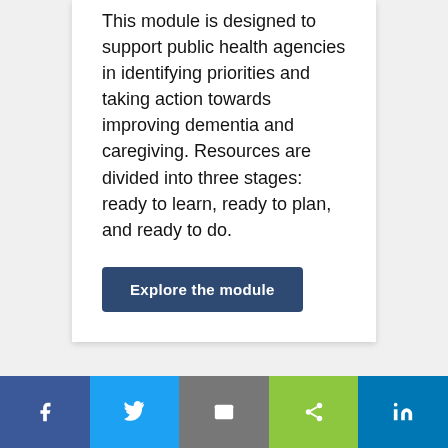This module is designed to support public health agencies in identifying priorities and taking action towards improving dementia and caregiving. Resources are divided into three stages: ready to learn, ready to plan, and ready to do.
Explore the module
[Figure (other): Social sharing bar with Facebook, Twitter, Email, Share, and LinkedIn buttons]